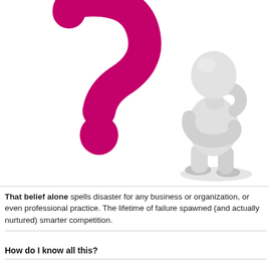[Figure (illustration): A 3D white humanoid figure in a thinking pose with arms crossed, leaning beside a large pink/magenta question mark, on a white background.]
That belief alone spells disaster for any business or organization, or even professional practice. The lifetime of failure spawned (and actually nurtured) smarter competition.
How do I know all this?